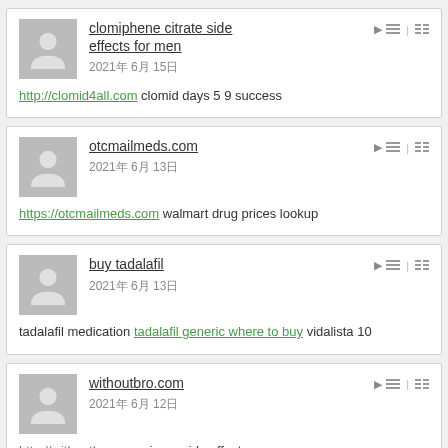clomiphene citrate side effects for men
2021年 6月 15日
http://clomid4all.com clomid days 5 9 success
otcmailmeds.com
2021年 6月 13日
https://otcmailmeds.com walmart drug prices lookup
buy tadalafil
2021年 6月 13日
tadalafil medication tadalafil generic where to buy vidalista 10
withoutbro.com
2021年 6月 12日
http://withoutbro.com viagra side effects